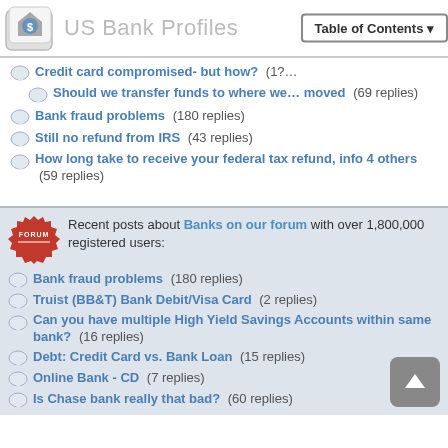US Bank Profiles
Credit card compromised- but how? (1? replies)
Should we transfer funds to where we... moved (69 replies)
Bank fraud problems (180 replies)
Still no refund from IRS (43 replies)
How long take to receive your federal tax refund, info 4 others (59 replies)
Recent posts about Banks on our forum with over 1,800,000 registered users:
Bank fraud problems (180 replies)
Truist (BB&T) Bank Debit/Visa Card (2 replies)
Can you have multiple High Yield Savings Accounts within same bank? (16 replies)
Debt: Credit Card vs. Bank Loan (15 replies)
Online Bank - CD (7 replies)
Is Chase bank really that bad? (60 replies)